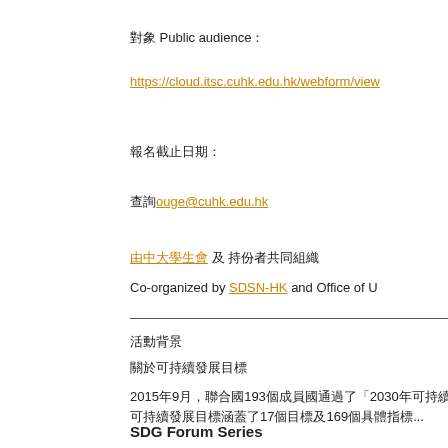對象 Public audience：
https://cloud.itsc.cuhk.edu.hk/webform/view...
報名截止日期：
查詢ouge@cuhk.edu.hk
由中大學生會 及 持份者共同組織
Co-organized by SDSN-HK and Office of U...
活動背景
關於可持續發展目標
2015年9月，聯合國193個成員國通過了「2030年可持續發展議程」...
可持續發展目標涵蓋了17個目標及169個具體指標...
在全球、區域及本地層面推動及落實可持續發展目標...
香港中文大學在各方面積極參與可持續發展目標...
響應聯合國可持續發展目標的精神及相關倡議...
SDG Forum Series